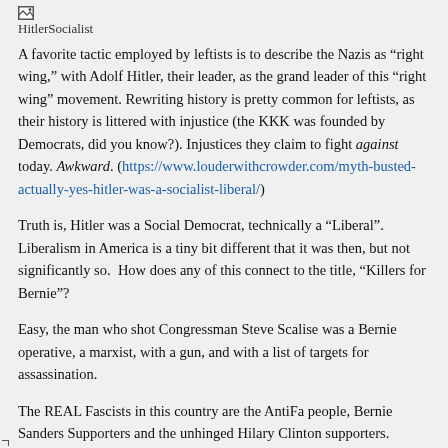[Figure (other): Image placeholder labeled HitlerSocialist]
A favorite tactic employed by leftists is to describe the Nazis as “right wing,” with Adolf Hitler, their leader, as the grand leader of this “right wing” movement. Rewriting history is pretty common for leftists, as their history is littered with injustice (the KKK was founded by Democrats, did you know?). Injustices they claim to fight against today. Awkward. (https://www.louderwithcrowder.com/myth-busted-actually-yes-hitler-was-a-socialist-liberal/)
Truth is, Hitler was a Social Democrat, technically a “Liberal”.  Liberalism in America is a tiny bit different that it was then, but not significantly so.  How does any of this connect to the title, “Killers for Bernie”?
Easy, the man who shot Congressman Steve Scalise was a Bernie operative, a marxist, with a gun, and with a list of targets for assassination.
The REAL Fascists in this country are the AntiFa people, Bernie Sanders Supporters and the unhinged Hilary Clinton supporters.
NAZI stands for National Socialist German Workers’ Party. Associate it with